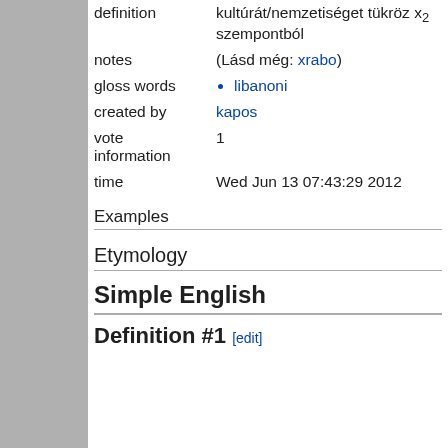| definition | kultúrát/nemzetiséget tükröz x₂ szempontból |
| notes | (Lásd még: xrabo) |
| gloss words | • libanoni |
| created by | kapos |
| vote information | 1 |
| time | Wed Jun 13 07:43:29 2012 |
Examples
Etymology
Simple English
Definition #1 [edit]